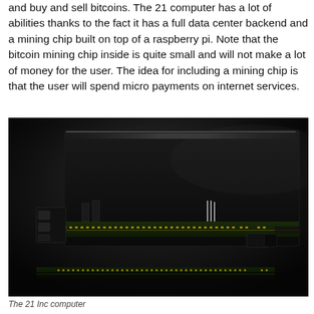and buy and sell bitcoins. The 21 computer has a lot of abilities thanks to the fact it has a full data center backend and a mining chip built on top of a raspberry pi. Note that the bitcoin mining chip inside is quite small and will not make a lot of money for the user. The idea for including a mining chip is that the user will spend micro payments on internet services.
[Figure (photo): A dark photograph of the 21 Inc computer hardware showing a circuit board with electronic components including connectors and chips against a black background.]
The 21 Inc computer